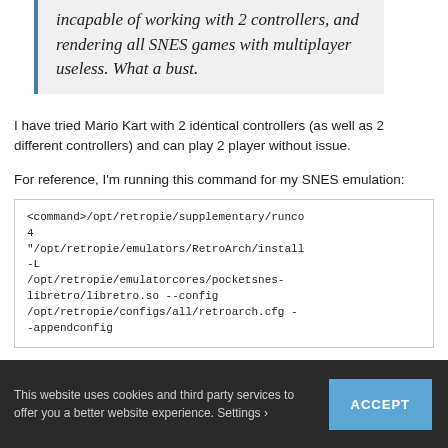incapable of working with 2 controllers, and rendering all SNES games with multiplayer useless. What a bust.
I have tried Mario Kart with 2 identical controllers (as well as 2 different controllers) and can play 2 player without issue.
For reference, I'm running this command for my SNES emulation:
<command>/opt/retropie/supplementary/runco 4
"/opt/retropie/emulators/RetroArch/install -L
/opt/retropie/emulatorcores/pocketsnes-libretro/libretro.so --config
/opt/retropie/configs/all/retroarch.cfg --appendconfig
This website uses cookies and third party services to offer you a better website experience. Settings